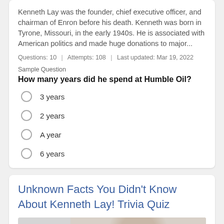Kenneth Lay was the founder, chief executive officer, and chairman of Enron before his death. Kenneth was born in Tyrone, Missouri, in the early 1940s. He is associated with American politics and made huge donations to major...
Questions: 10  |  Attempts: 108  |  Last updated: Mar 19, 2022
Sample Question
How many years did he spend at Humble Oil?
3 years
2 years
A year
6 years
Unknown Facts You Didn't Know About Kenneth Lay! Trivia Quiz
[Figure (photo): Photo of Kenneth Lay, an older white-haired man]